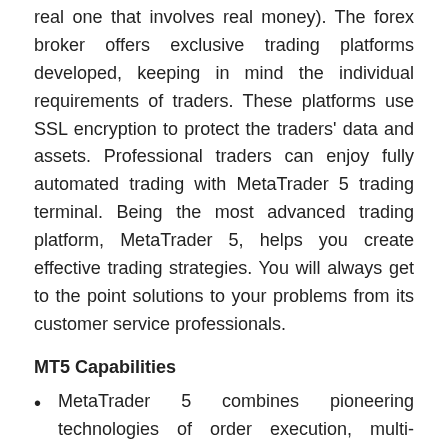real one that involves real money). The forex broker offers exclusive trading platforms developed, keeping in mind the individual requirements of traders. These platforms use SSL encryption to protect the traders' data and assets. Professional traders can enjoy fully automated trading with MetaTrader 5 trading terminal. Being the most advanced trading platform, MetaTrader 5, helps you create effective trading strategies. You will always get to the point solutions to your problems from its customer service professionals.
MT5 Capabilities
MetaTrader 5 combines pioneering technologies of order execution, multi-currency tester, and pending orders.
The MT5 platform executes trades at an ultra-